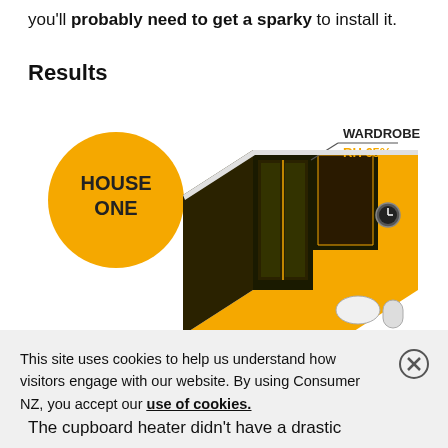you'll probably need to get a sparky to install it.
Results
[Figure (infographic): Isometric illustration of a room (House One) with a wardrobe labeled 'WARDROBE RH 65%'. A golden circle badge reads 'HOUSE ONE'. The room is drawn in yellow, black, and white isometric style.]
This site uses cookies to help us understand how visitors engage with our website. By using Consumer NZ, you accept our use of cookies.
The cupboard heater didn't have a drastic